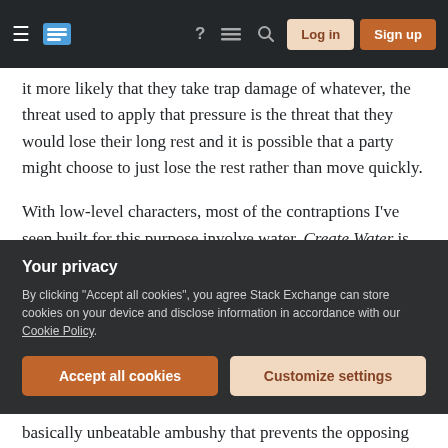Stack Exchange navigation bar with hamburger menu, logo, help, chat, search icons, Log in and Sign up buttons
it more likely that they take trap damage of whatever, the threat used to apply that pressure is the threat that they would lose their long rest and it is possible that a party might choose to just lose the rest rather than move quickly.
With low-level characters, most of the contraptions I've seen built for this purpose involve water. Create Water is no longer up to this task in 5e, but Mold Earth can very quickly redirect rivers and in combination with Shape Water is often used to set up a trap whereby a pre-existing dungeon chamber is converted to appeal to an
Your privacy
By clicking "Accept all cookies", you agree Stack Exchange can store cookies on your device and disclose information in accordance with our Cookie Policy.
Accept all cookies   Customize settings
basically unbeatable ambushy that prevents the opposing